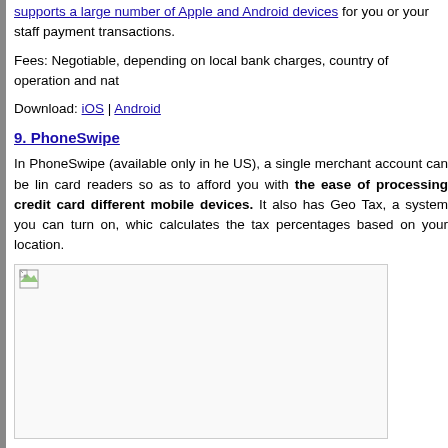supports a large number of Apple and Android devices for you or your staff payment transactions.
Fees: Negotiable, depending on local bank charges, country of operation and na...
Download: iOS | Android
9. PhoneSwipe
In PhoneSwipe (available only in he US), a single merchant account can be linked to multiple card readers so as to afford you with the ease of processing credit cards on different mobile devices. It also has Geo Tax, a system you can turn on, which calculates the tax percentages based on your location.
[Figure (photo): Broken image placeholder for PhoneSwipe screenshot or product image]
The account is also unique to each merchant as an added security feature. In ot... account will not be shared with merchants and exposed to potential fraud.
Fees: 2.69% (swiped), 3.49% + $0.19 (keyed-in)